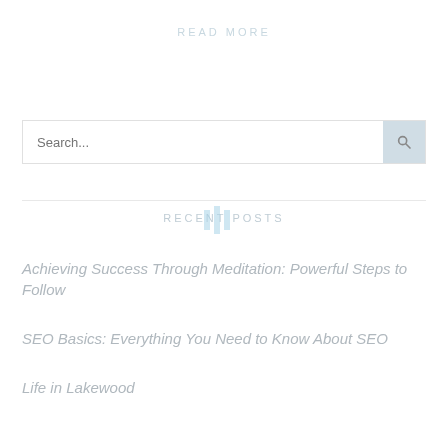READ MORE
Search...
RECENT POSTS
Achieving Success Through Meditation: Powerful Steps to Follow
SEO Basics: Everything You Need to Know About SEO
Life in Lakewood